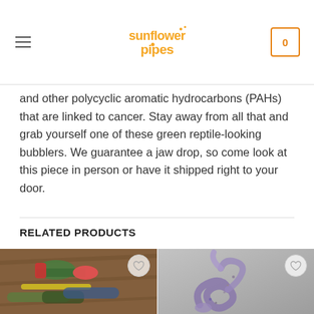Sunflower Pipes
and other polycyclic aromatic hydrocarbons (PAHs) that are linked to cancer. Stay away from all that and grab yourself one of these green reptile-looking bubblers. We guarantee a jaw drop, so come look at this piece in person or have it shipped right to your door.
RELATED PRODUCTS
[Figure (photo): Colorful silicone pipes in red, green, and yellow on a wooden surface]
[Figure (photo): A coiled glass pipe with purple and brown speckled texture on a gray background]